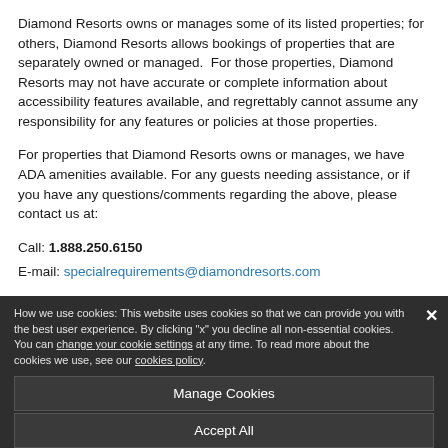Diamond Resorts owns or manages some of its listed properties; for others, Diamond Resorts allows bookings of properties that are separately owned or managed.  For those properties, Diamond Resorts may not have accurate or complete information about accessibility features available, and regrettably cannot assume any responsibility for any features or policies at those properties.
For properties that Diamond Resorts owns or manages, we have ADA amenities available. For any guests needing assistance, or if you have any questions/comments regarding the above, please contact us at:
Call: 1.888.250.6150
E-mail: specialrequirements@diamondresorts.com
How we use cookies: This website uses cookies so that we can provide you with the best user experience. By clicking "x" you decline all non-essential cookies. You can change your cookie settings at any time. To read more about the cookies we use, see our cookies policy.
Manage Cookies
Accept All